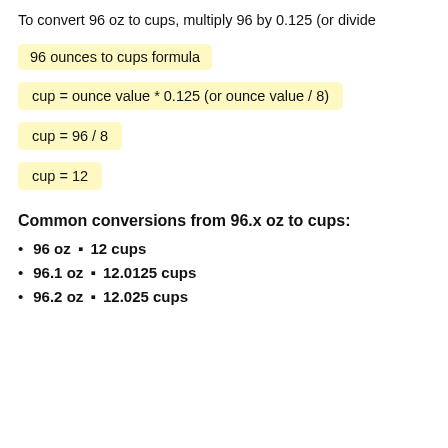To convert 96 oz to cups, multiply 96 by 0.125 (or divide
Common conversions from 96.x oz to cups:
96 oz = 12 cups
96.1 oz = 12.0125 cups
96.2 oz = 12.025 cups